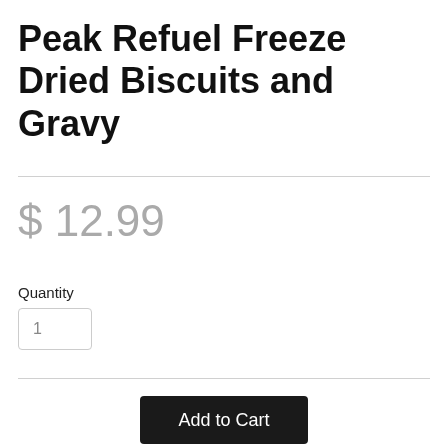Peak Refuel Freeze Dried Biscuits and Gravy
$ 12.99
Quantity
1
Add to Cart